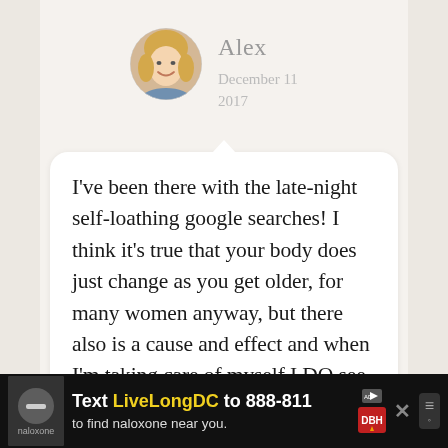[Figure (photo): Circular avatar photo of a blonde woman smiling, followed by the name 'Alex' and the date 'December 11 2017']
Alex
December 11 2017
I've been there with the late-night self-loathing google searches! I think it's true that your body does just change as you get older, for many women anyway, but there also is a cause and effect and when I'm taking care of myself I DO see th…
[Figure (screenshot): Ad banner at bottom: 'Text LiveLongDC to 888-811 to find naloxone near you.' with DBH logo and close button]